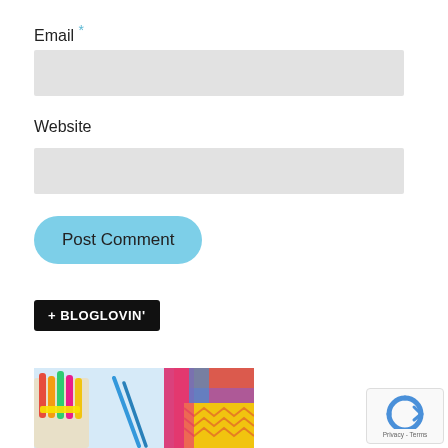Email *
[Figure (other): Email input field (empty, light gray background)]
Website
[Figure (other): Website input field (empty, light gray background)]
[Figure (other): Post Comment button, rounded, light blue]
[Figure (logo): Bloglovin badge: black background with white text '+ BLOGLOVIN'']
[Figure (photo): Photo of craft supplies: colorful markers in a container, pens, and colorful papers/notebooks on a white surface]
[Figure (other): reCAPTCHA badge: Privacy - Terms text with reCAPTCHA logo]